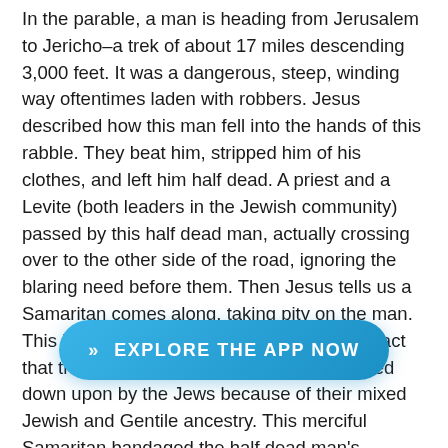In the parable, a man is heading from Jerusalem to Jericho–a trek of about 17 miles descending 3,000 feet. It was a dangerous, steep, winding way oftentimes laden with robbers. Jesus described how this man fell into the hands of this rabble. They beat him, stripped him of his clothes, and left him half dead. A priest and a Levite (both leaders in the Jewish community) passed by this half dead man, actually crossing over to the other side of the road, ignoring the blaring need before them. Then Jesus tells us a Samaritan comes along, taking pity on the man. This is particularly interesting in light of the fact that the Samaritans were scorned and looked down upon by the Jews because of their mixed Jewish and Gentile ancestry. This merciful Samaritan bandaged the half dead man's wounds, poured on his own oil and wine, placed the man on his own donkey, and took him to an inn to care for him out of his own means. The next day, the Samaritan went the extra mile... [man's] needs and that he would reimburse him for any expenses incurred. At
[Figure (other): A blue rounded-rectangle button with white text reading '>> EXPLORE THE APP NOW']